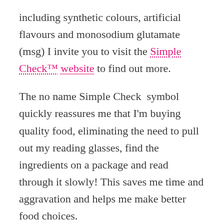including synthetic colours, artificial flavours and monosodium glutamate (msg) I invite you to visit the Simple Check™ website to find out more.
The no name Simple Check symbol quickly reassures me that I'm buying quality food, eliminating the need to pull out my reading glasses, find the ingredients on a package and read through it slowly! This saves me time and aggravation and helps me make better food choices.